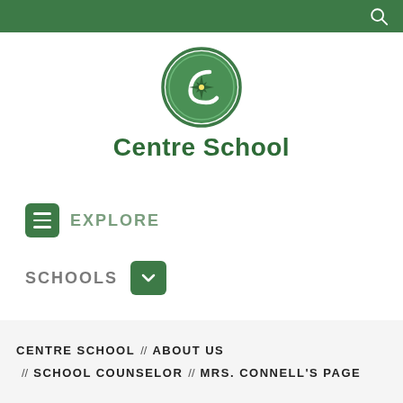[Figure (logo): Centre School logo: circular green badge with a stylized C and compass star in the center]
Centre School
EXPLORE
SCHOOLS
CENTRE SCHOOL // ABOUT US // SCHOOL COUNSELOR // MRS. CONNELL'S PAGE